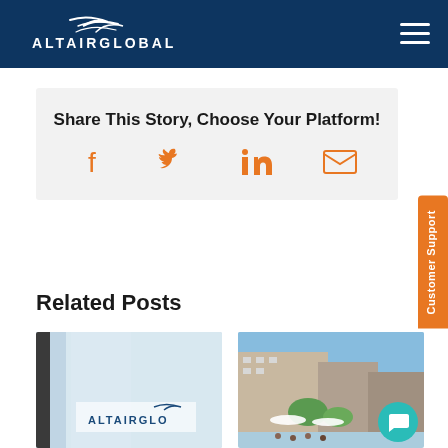ALTAIRGLOBAL
Share This Story, Choose Your Platform!
[Figure (infographic): Social share icons: Facebook, Twitter, LinkedIn, Email in orange]
Customer Support
Related Posts
[Figure (photo): Altair Global office interior with logo on glass]
[Figure (photo): Outdoor gathering at a building with umbrellas and crowd]